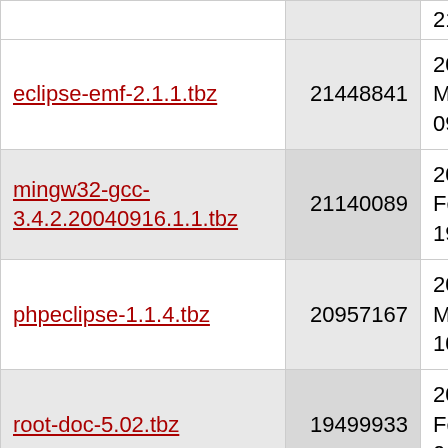| Name | Size | Date |
| --- | --- | --- |
|  |  | 21:30 |
| eclipse-emf-2.1.1.tbz | 21448841 | 2006-Mar-25 09:57 |
| mingw32-gcc-3.4.2.20040916.1.1.tbz | 21140089 | 2006-Feb-26 19:43 |
| phpeclipse-1.1.4.tbz | 20957167 | 2006-Mar-25 10:07 |
| root-doc-5.02.tbz | 19499933 | 2006-Feb-26 04:04 |
| fujaba-4.3.1.tbz | 18752023 | 2006-Mar-25 07:02 |
| root-5.02.00.tbz | 18094684 | 2006-Feb-28 05:01 |
| i386-rtems-gcc-3.2.3_4.tbz | 16342771 | 2006-Feb-26 18:52 |
|  |  | 2006- |